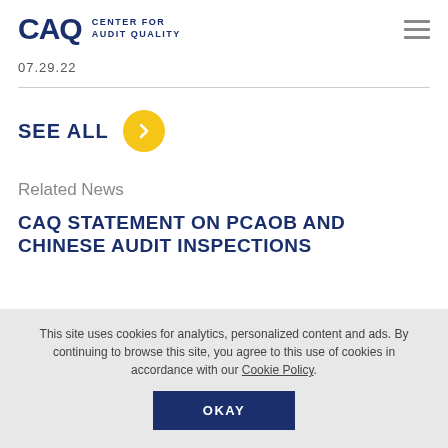CAQ CENTER FOR AUDIT QUALITY
07.29.22
SEE ALL
Related News
CAQ STATEMENT ON PCAOB AND CHINESE AUDIT INSPECTIONS
This site uses cookies for analytics, personalized content and ads. By continuing to browse this site, you agree to this use of cookies in accordance with our Cookie Policy.